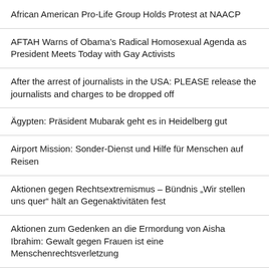African American Pro-Life Group Holds Protest at NAACP
AFTAH Warns of Obama’s Radical Homosexual Agenda as President Meets Today with Gay Activists
After the arrest of journalists in the USA: PLEASE release the journalists and charges to be dropped off
Ägypten: Präsident Mubarak geht es in Heidelberg gut
Airport Mission: Sonder-Dienst und Hilfe für Menschen auf Reisen
Aktionen gegen Rechtsextremismus – Bündnis „Wir stellen uns quer“ hält an Gegenaktivitäten fest
Aktionen zum Gedenken an die Ermordung von Aisha Ibrahim: Gewalt gegen Frauen ist eine Menschenrechtsverletzung